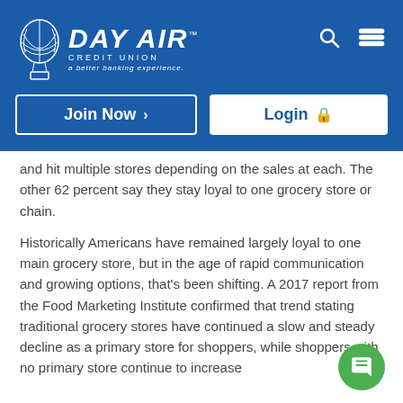[Figure (logo): Day Air Credit Union logo with hot air balloon icon and tagline 'a better banking experience.' on blue header background]
Join Now >
Login 🔒
and hit multiple stores depending on the sales at each. The other 62 percent say they stay loyal to one grocery store or chain.
Historically Americans have remained largely loyal to one main grocery store, but in the age of rapid communication and growing options, that's been shifting. A 2017 report from the Food Marketing Institute confirmed that trend stating traditional grocery stores have continued a slow and steady decline as a primary store for shoppers, while shoppers with no primary store continue to increase